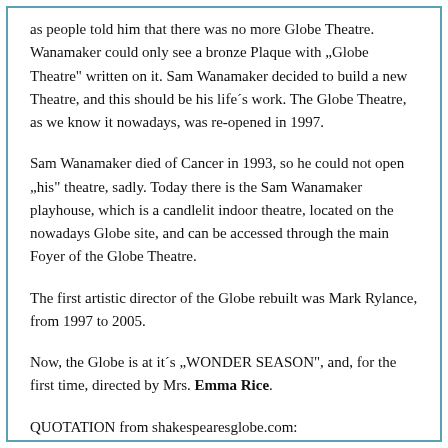as people told him that there was no more Globe Theatre. Wanamaker could only see a bronze Plaque with „Globe Theatre" written on it. Sam Wanamaker decided to build a new Theatre, and this should be his life´s work. The Globe Theatre, as we know it nowadays, was re-opened in 1997.
Sam Wanamaker died of Cancer in 1993, so he could not open „his" theatre, sadly. Today there is the Sam Wanamaker playhouse, which is a candlelit indoor theatre, located on the nowadays Globe site, and can be accessed through the main Foyer of the Globe Theatre.
The first artistic director of the Globe rebuilt was Mark Rylance, from 1997 to 2005.
Now, the Globe is at it´s „WONDER SEASON", and, for the first time, directed by Mrs. Emma Rice.
QUOTATION from shakespearesglobe.com: